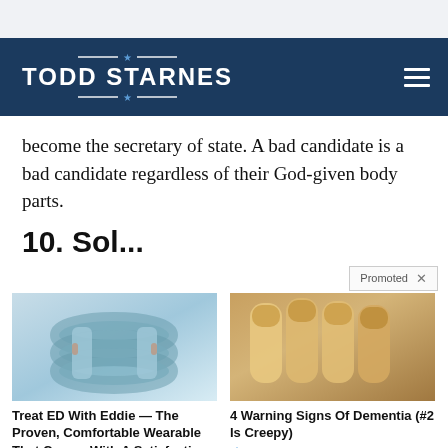[Figure (logo): Todd Starnes website logo — white bold text on navy background with decorative horizontal rules and star accents]
become the secretary of state. A bad candidate is a bad candidate regardless of their God-given body parts.
Promoted ×
[Figure (photo): Blue rubber ring device for ED treatment (Eddie wearable device)]
Treat ED With Eddie — The Proven, Comfortable Wearable That Comes With A Satisfaction Guarantee
🔥 161,618
[Figure (photo): Close-up of yellowed fingernails/fingertips illustrating dementia warning signs]
4 Warning Signs Of Dementia (#2 Is Creepy)
🔥 31,418